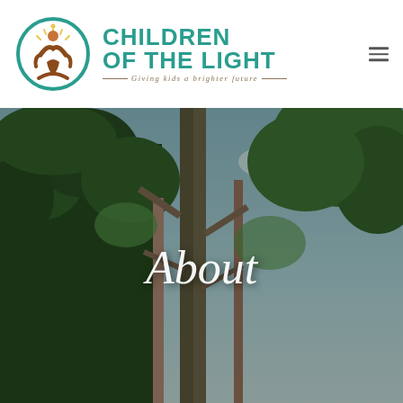[Figure (logo): Children of the Light logo: teal circular emblem with a stylized person figure in brown with raised arms and a sun, next to bold teal text reading CHILDREN OF THE LIGHT with italic tagline Giving kids a brighter future]
[Figure (photo): Outdoor photo looking up at tall tropical trees with green foliage against a partly cloudy sky, with the word About overlaid in white italic serif font in the center]
About